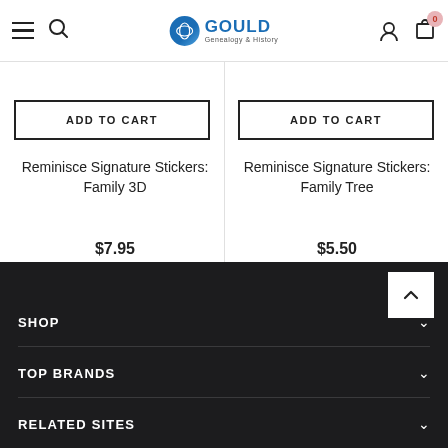[Figure (screenshot): Website header with hamburger menu, search icon, Gould Genealogy & History logo, user icon, and cart icon with badge showing 0]
ADD TO CART
ADD TO CART
Reminisce Signature Stickers: Family 3D
Reminisce Signature Stickers: Family Tree
$7.95
$5.50
SHOP | TOP BRANDS | RELATED SITES